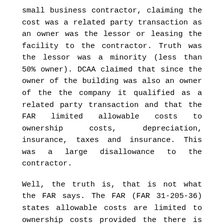small business contractor, claiming the cost was a related party transaction as an owner was the lessor or leasing the facility to the contractor. Truth was the lessor was a minority (less than 50% owner). DCAA claimed that since the owner of the building was also an owner of the the company it qualified as a related party transaction and that the FAR limited allowable costs to ownership costs, depreciation, insurance, taxes and insurance. This was a large disallowance to the contractor.
Well, the truth is, that is not what the FAR says. The FAR (FAR 31-205-36) states allowable costs are limited to ownership costs provided the there is “common control” between the contractor owner and the building owner. The DCAA's own audit guidance states the same concept. Well there was not any common ownership. the primary or majority owner of the contractor did not have any ownership in the building and the owner of the building was a minority